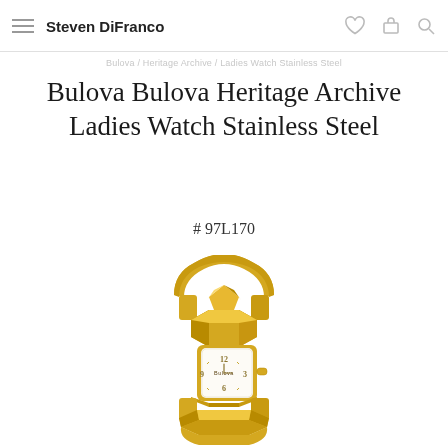Steven DiFranco
Bulova / Heritage Archive / Ladies Watch Stainless Steel
Bulova Bulova Heritage Archive Ladies Watch Stainless Steel
# 97L170
[Figure (photo): Gold-tone Bulova Heritage Archive ladies bangle watch with faceted geometric gold case and bracelet, white rectangular dial showing 12, 3, 6, 9 numerals, Bulova logo on dial, and visible crown on right side.]